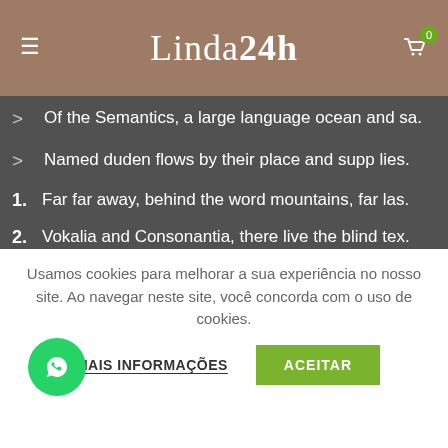Linda24h
Of the Semantics, a large language ocean and sa.
Named duden flows by their place and supp lies.
1. Far far away, behind the word mountains, far las.
2. Vokalia and Consonantia, there live the blind tex.
3. Separated they live in Bookmarksgrove right attr.
4. Of the Semantics, a large language ocean and sa.
Usamos cookies para melhorar a sua experiência no nosso site. Ao navegar neste site, você concorda com o uso de cookies.
MAIS INFORMAÇÕES   ACEITAR